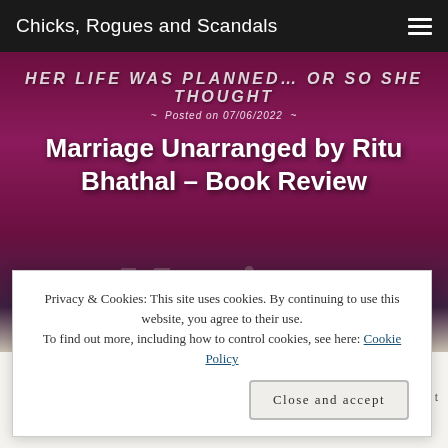Chicks, Rogues and Scandals
[Figure (illustration): Book cover banner with dark magenta/purple gradient background. Text reads 'Her life was planned... Or so she thought' at top. Posted on 07/06/2022. Title overlay: 'Marriage Unarranged by Ritu Bhathal – Book Review'. Decorative watermark text 'Marriage' and 'UNARRANGED' visible.]
Marriage Unarranged by Ritu Bhathal – Book Review
Posted on 07/06/2022
Privacy & Cookies: This site uses cookies. By continuing to use this website, you agree to their use. To find out more, including how to control cookies, see here: Cookie Policy
Close and accept